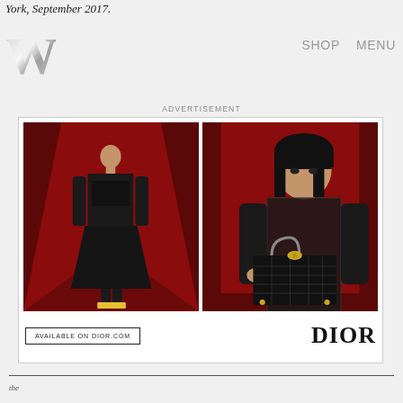York, September 2017.
[Figure (logo): W Magazine logo — large silver serif W letter]
SHOP    MENU
ADVERTISEMENT
[Figure (photo): Dior advertisement featuring two fashion photographs on red backgrounds. Left image: a model in a black structured coat and skirt standing in a red geometric space. Right image: a model with black bangs wearing black lace, holding a Lady Dior black quilted handbag, in a red box setting. Bottom left: button reading 'AVAILABLE ON DIOR.COM'. Bottom right: DIOR logo in bold serif type.]